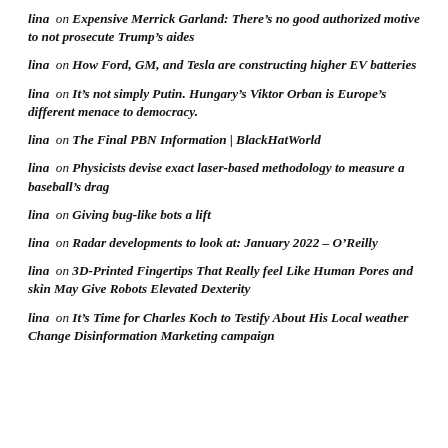lina on Expensive Merrick Garland: There’s no good authorized motive to not prosecute Trump’s aides
lina on How Ford, GM, and Tesla are constructing higher EV batteries
lina on It’s not simply Putin. Hungary’s Viktor Orban is Europe’s different menace to democracy.
lina on The Final PBN Information | BlackHatWorld
lina on Physicists devise exact laser-based methodology to measure a baseball’s drag
lina on Giving bug-like bots a lift
lina on Radar developments to look at: January 2022 – O’Reilly
lina on 3D-Printed Fingertips That Really feel Like Human Pores and skin May Give Robots Elevated Dexterity
lina on It’s Time for Charles Koch to Testify About His Local weather Change Disinformation Marketing campaign